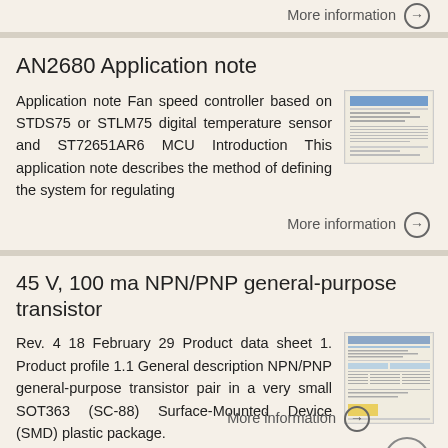More information →
AN2680 Application note
Application note Fan speed controller based on STDS75 or STLM75 digital temperature sensor and ST72651AR6 MCU Introduction This application note describes the method of defining the system for regulating
More information →
45 V, 100 ma NPN/PNP general-purpose transistor
Rev. 4 18 February 29 Product data sheet 1. Product profile 1.1 General description NPN/PNP general-purpose transistor pair in a very small SOT363 (SC-88) Surface-Mounted Device (SMD) plastic package.
More information →